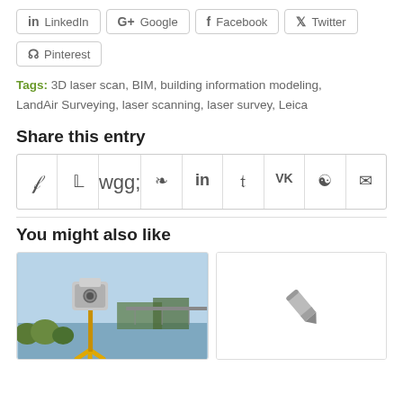LinkedIn
G+ Google
Facebook
Twitter
Pinterest
Tags: 3D laser scan, BIM, building information modeling, LandAir Surveying, laser scanning, laser survey, Leica
Share this entry
[Figure (other): Social sharing icon bar with f, twitter, g+, pinterest, linkedin, tumblr, vk, reddit, mail icons in bordered cells]
You might also like
[Figure (photo): Photo of a 3D laser scanner on a yellow tripod by a river with a bridge in the background]
[Figure (other): Blank card with a pencil/edit icon in the center]